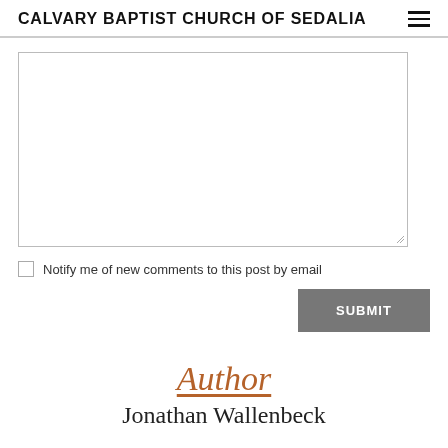CALVARY BAPTIST CHURCH OF SEDALIA
[Figure (other): Empty textarea input box for comment entry]
Notify me of new comments to this post by email
SUBMIT
Author
Jonathan Wallenbeck